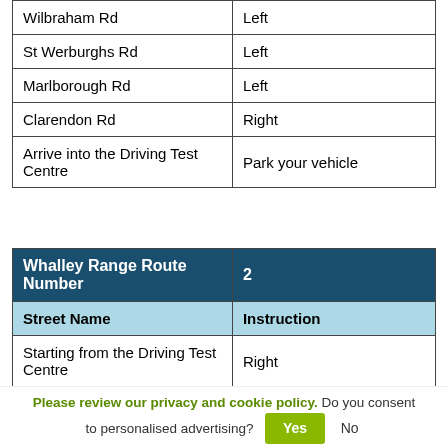| Street Name | Instruction |
| --- | --- |
| Wilbraham Rd | Left |
| St Werburghs Rd | Left |
| Marlborough Rd | Left |
| Clarendon Rd | Right |
| Arrive into the Driving Test Centre | Park your vehicle |
| Whalley Range Route Number | 2 |
| --- | --- |
| Street Name | Instruction |
| Starting from the Driving Test Centre | Right |
Please review our privacy and cookie policy. Do you consent to personalised advertising? Yes No